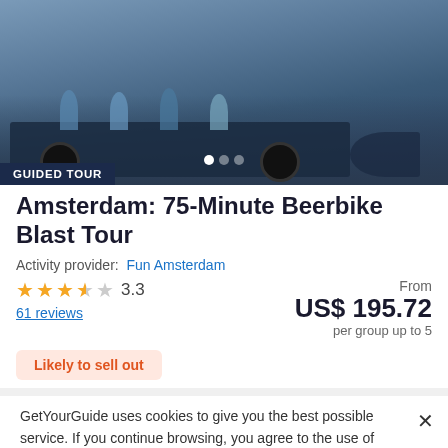[Figure (photo): Photo of a beer bike (pedal-powered party vehicle) with people seated on it, parked on a street in Amsterdam. A blue vehicle with multiple seats facing outward.]
GUIDED TOUR
Amsterdam: 75-Minute Beerbike Blast Tour
Activity provider: Fun Amsterdam
★★★½☆ 3.3
61 reviews
From
US$ 195.72
per group up to 5
Likely to sell out
GetYourGuide uses cookies to give you the best possible service. If you continue browsing, you agree to the use of cookies. More details can be found in our privacy policy.